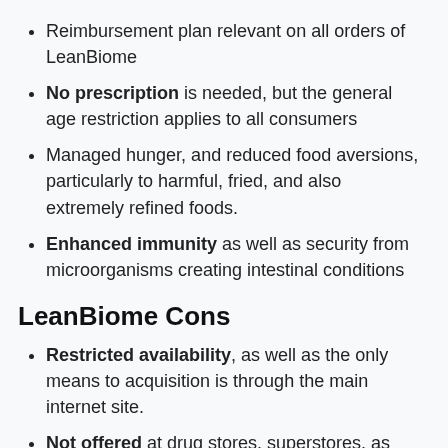Reimbursement plan relevant on all orders of LeanBiome
No prescription is needed, but the general age restriction applies to all consumers
Managed hunger, and reduced food aversions, particularly to harmful, fried, and also extremely refined foods.
Enhanced immunity as well as security from microorganisms creating intestinal conditions
LeanBiome Cons
Restricted availability, as well as the only means to acquisition is through the main internet site.
Not offered at drug stores, superstores, as